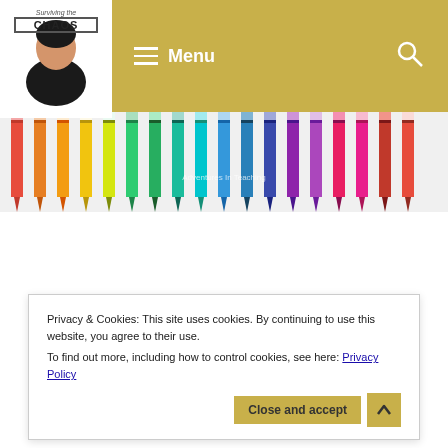Surviving the Chaos — Menu (navigation bar with logo and hamburger menu)
[Figure (illustration): Row of colorful pencils banner — red, orange, yellow, green, blue, purple and more colors arranged side by side]
FIRST DAY OF
[Figure (illustration): Computer keyboard and mouse illustration]
Privacy & Cookies: This site uses cookies. By continuing to use this website, you agree to their use.
To find out more, including how to control cookies, see here: Privacy Policy
Close and accept